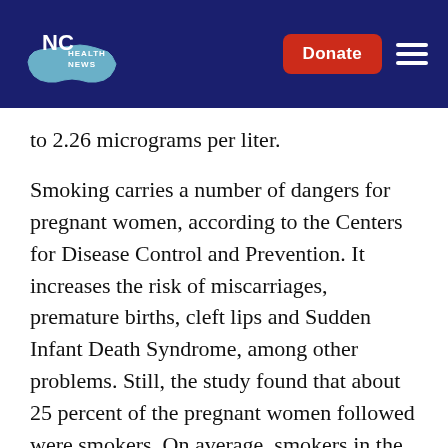NC Health News
to 2.26 micrograms per liter.
Smoking carries a number of dangers for pregnant women, according to the Centers for Disease Control and Prevention. It increases the risk of miscarriages, premature births, cleft lips and Sudden Infant Death Syndrome, among other problems. Still, the study found that about 25 percent of the pregnant women followed were smokers. On average, smokers in the study were found to have twice as much cadmium in their blood as nonsmokers.